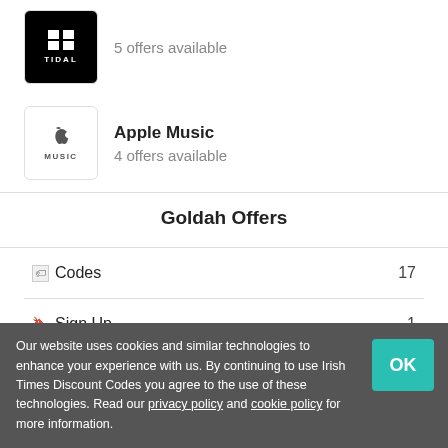[Figure (logo): Tidal logo - black square with white grid squares and TIDAL text]
5 offers available
[Figure (logo): Apple Music logo - apple icon with MUSIC text]
Apple Music
4 offers available
Goldah Offers
🏷 Codes	17
🔖 Sign Up	1
Our website uses cookies and similar technologies to enhance your experience with us. By continuing to use Irish Times Discount Codes you agree to the use of these technologies. Read our privacy policy and cookie policy for more information.